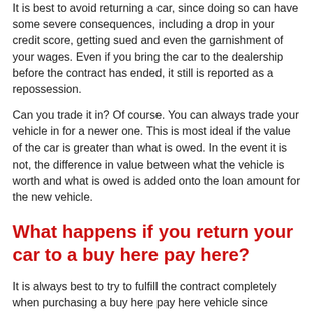It is best to avoid returning a car, since doing so can have some severe consequences, including a drop in your credit score, getting sued and even the garnishment of your wages. Even if you bring the car to the dealership before the contract has ended, it still is reported as a repossession.
Can you trade it in? Of course. You can always trade your vehicle in for a newer one. This is most ideal if the value of the car is greater than what is owed. In the event it is not, the difference in value between what the vehicle is worth and what is owed is added onto the loan amount for the new vehicle.
What happens if you return your car to a buy here pay here?
It is always best to try to fulfill the contract completely when purchasing a buy here pay here vehicle since